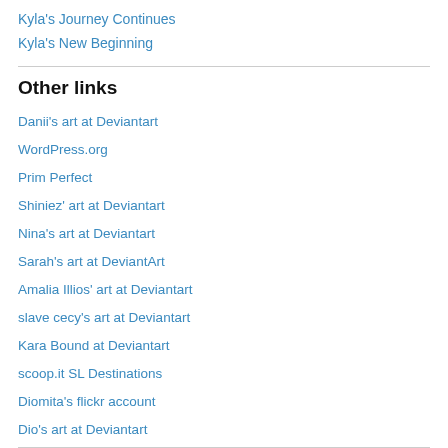Kyla's Journey Continues
Kyla's New Beginning
Other links
Danii's art at Deviantart
WordPress.org
Prim Perfect
Shiniez' art at Deviantart
Nina's art at Deviantart
Sarah's art at DeviantArt
Amalia Illios' art at Deviantart
slave cecy's art at Deviantart
Kara Bound at Deviantart
scoop.it SL Destinations
Diomita's flickr account
Dio's art at Deviantart
Rona's art at Deviantart